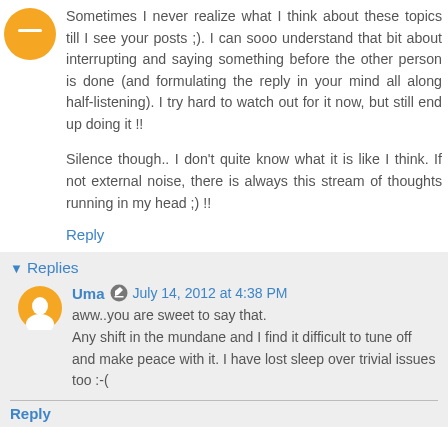Sometimes I never realize what I think about these topics till I see your posts ;). I can sooo understand that bit about interrupting and saying something before the other person is done (and formulating the reply in your mind all along half-listening). I try hard to watch out for it now, but still end up doing it !!
Silence though.. I don't quite know what it is like I think. If not external noise, there is always this stream of thoughts running in my head ;) !!
Reply
Replies
Uma  July 14, 2012 at 4:38 PM
aww..you are sweet to say that.
Any shift in the mundane and I find it difficult to tune off and make peace with it. I have lost sleep over trivial issues too :-(
Reply